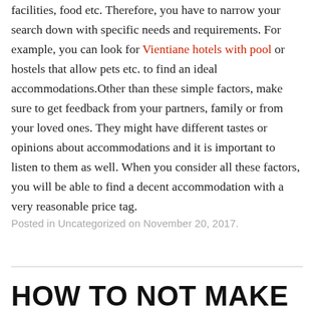facilities, food etc. Therefore, you have to narrow your search down with specific needs and requirements. For example, you can look for Vientiane hotels with pool or hostels that allow pets etc. to find an ideal accommodations.Other than these simple factors, make sure to get feedback from your partners, family or from your loved ones. They might have different tastes or opinions about accommodations and it is important to listen to them as well. When you consider all these factors, you will be able to find a decent accommodation with a very reasonable price tag.
Posted in Uncategorized on November 20, 2017.
HOW TO NOT MAKE